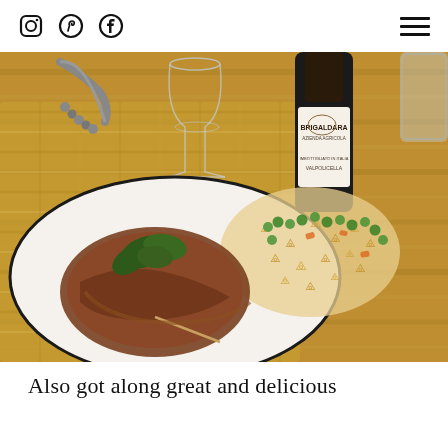Social media icons: Instagram, Pinterest, Facebook; Hamburger menu
[Figure (photo): A plate of food on a wooden table featuring a meat dish with sage leaves and sauce, pasta fusilli with peas, carrots and vegetables, accompanied by a Brigaldara wine bottle, an empty wine glass, and a corkscrew opener.]
Also got along great and delicious